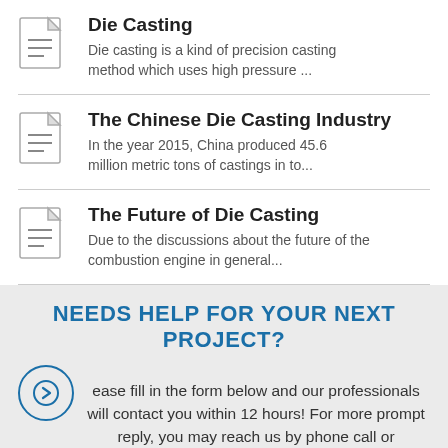Die Casting — Die casting is a kind of precision casting method which uses high pressure ...
The Chinese Die Casting Industry — In the year 2015, China produced 45.6 million metric tons of castings in to...
The Future of Die Casting — Due to the discussions about the future of the combustion engine in general...
NEEDS HELP FOR YOUR NEXT PROJECT?
Please fill in the form below and our professionals will contact you within 12 hours! For more prompt reply, you may reach us by phone call or WhatsApp: +86 136 9425 7500.